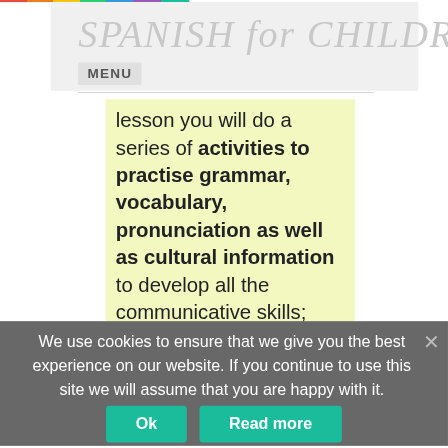SPANISH for CHILDREN
MENU
lesson you will do a series of activities to practise grammar, vocabulary, pronunciation as well as cultural information to develop all the communicative skills; reading, writing, speaking and listening.
We use cookies to ensure that we give you the best experience on our website. If you continue to use this site we will assume that you are happy with it.